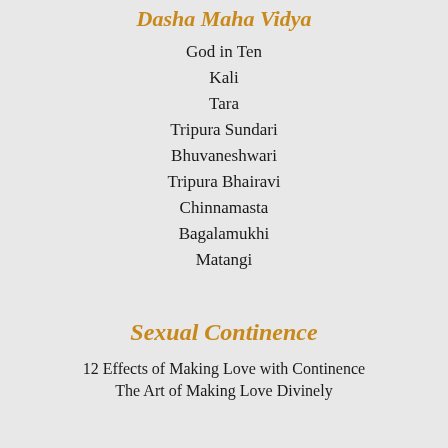Dasha Maha Vidya
God in Ten
Kali
Tara
Tripura Sundari
Bhuvaneshwari
Tripura Bhairavi
Chinnamasta
Bagalamukhi
Matangi
Sexual Continence
12 Effects of Making Love with Continence
The Art of Making Love Divinely